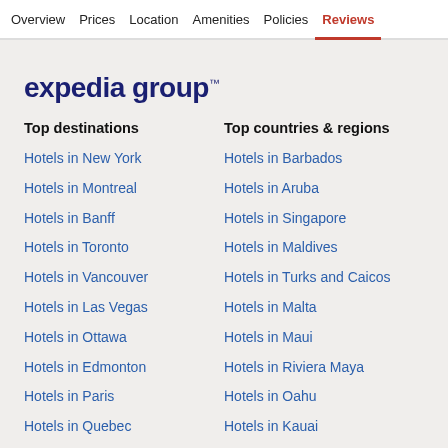Overview  Prices  Location  Amenities  Policies  Reviews
[Figure (logo): Expedia Group logo in dark navy blue with trademark symbol]
Top destinations
Top countries & regions
Hotels in New York
Hotels in Barbados
Hotels in Montreal
Hotels in Aruba
Hotels in Banff
Hotels in Singapore
Hotels in Toronto
Hotels in Maldives
Hotels in Vancouver
Hotels in Turks and Caicos
Hotels in Las Vegas
Hotels in Malta
Hotels in Ottawa
Hotels in Maui
Hotels in Edmonton
Hotels in Riviera Maya
Hotels in Paris
Hotels in Oahu
Hotels in Quebec
Hotels in Kauai